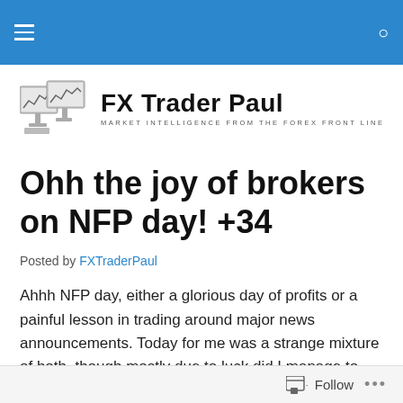FX Trader Paul — Market Intelligence from the Forex Front Line
[Figure (logo): FX Trader Paul logo with trading monitors graphic and bold text 'FX Trader Paul' with tagline 'Market Intelligence from the Forex Front Line']
Ohh the joy of brokers on NFP day! +34
Posted by FXTraderPaul
Ahhh NFP day, either a glorious day of profits or a painful lesson in trading around major news announcements. Today for me was a strange mixture of both, though mostly due to luck did I manage to come away with profit in my pocket.
Follow